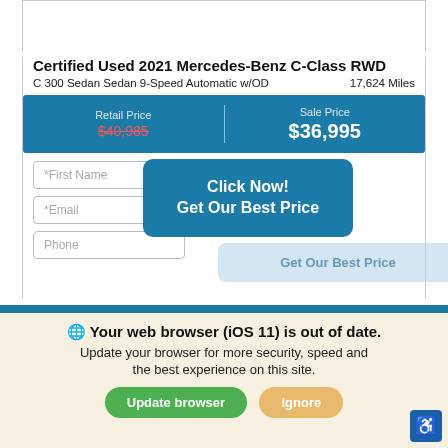Certified Used 2021 Mercedes-Benz C-Class RWD
C 300 Sedan Sedan 9-Speed Automatic w/OD   17,624 Miles
| Retail Price | Sale Price |
| --- | --- |
| $40,985 | $36,995 |
*First Name
*Email
Phone
[Figure (other): Click Now! Get Our Best Price button overlay]
Get Our Best Price (ghost button)
We use cookies to optimize our website and our service.
Cookie Policy   Privacy Statement
Your web browser (iOS 11) is out of date. Update your browser for more security, speed and the best experience on this site.
Update browser   Ignore